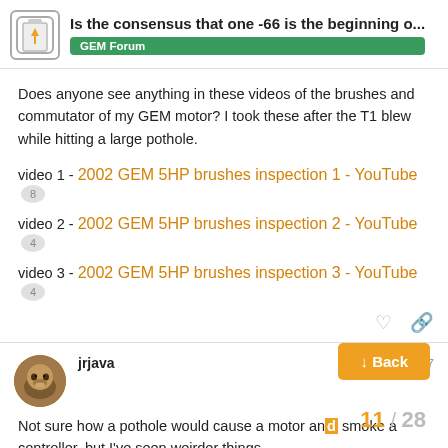Is the consensus that one -66 is the beginning o... | GEM Forum
Does anyone see anything in these videos of the brushes and commutator of my GEM motor? I took these after the T1 blew while hitting a large pothole.
video 1 - 2002 GEM 5HP brushes inspection 1 - YouTube  8
video 2 - 2002 GEM 5HP brushes inspection 2 - YouTube  4
video 3 - 2002 GEM 5HP brushes inspection 3 - YouTube  4
jrjava  May 27
Not sure how a pothole would cause a motor and smoke a controller, but I've seen weirder things.
Only watch this on my phone right now, so
11 / 28